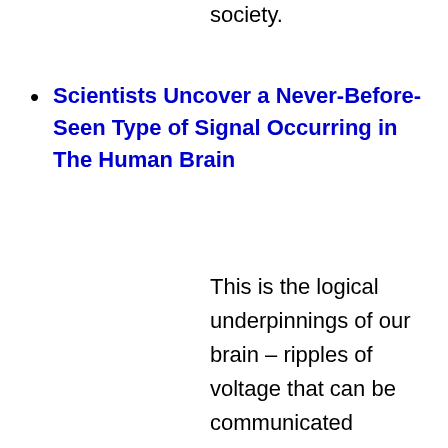society.
Scientists Uncover a Never-Before-Seen Type of Signal Occurring in The Human Brain
This is the logical underpinnings of our brain – ripples of voltage that can be communicated collectively in two forms: either an AND message (if x and y are triggered, the message is passed on); or an OR message (if x or y is triggered, the message is